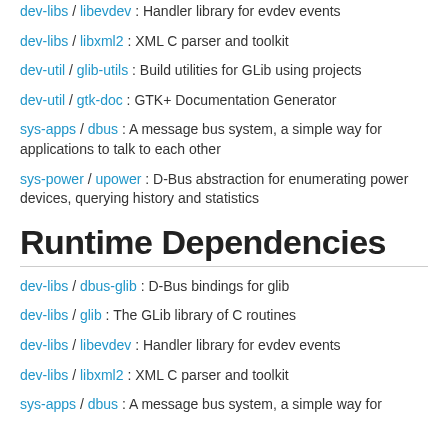dev-libs / libevdev : Handler library for evdev events
dev-libs / libxml2 : XML C parser and toolkit
dev-util / glib-utils : Build utilities for GLib using projects
dev-util / gtk-doc : GTK+ Documentation Generator
sys-apps / dbus : A message bus system, a simple way for applications to talk to each other
sys-power / upower : D-Bus abstraction for enumerating power devices, querying history and statistics
Runtime Dependencies
dev-libs / dbus-glib : D-Bus bindings for glib
dev-libs / glib : The GLib library of C routines
dev-libs / libevdev : Handler library for evdev events
dev-libs / libxml2 : XML C parser and toolkit
sys-apps / dbus : A message bus system, a simple way for applications to talk to each other